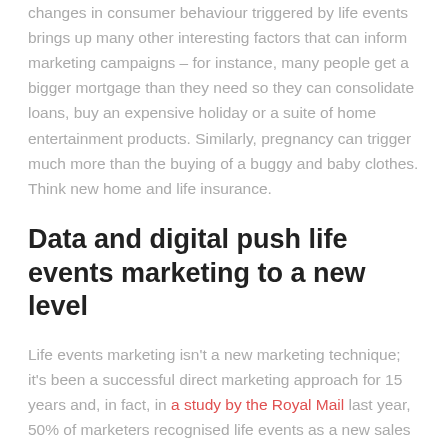changes in consumer behaviour triggered by life events brings up many other interesting factors that can inform marketing campaigns – for instance, many people get a bigger mortgage than they need so they can consolidate loans, buy an expensive holiday or a suite of home entertainment products. Similarly, pregnancy can trigger much more than the buying of a buggy and baby clothes. Think new home and life insurance.
Data and digital push life events marketing to a new level
Life events marketing isn't a new marketing technique; it's been a successful direct marketing approach for 15 years and, in fact, in a study by the Royal Mail last year, 50% of marketers recognised life events as a new sales opportunity, with 70% also recognising that life events